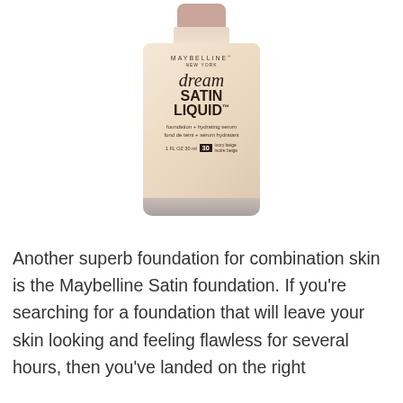[Figure (photo): Maybelline Dream Satin Liquid foundation bottle in shade 30 Ivory Beige. The bottle has a rose gold cap, a beige/cream colored body, and a glass-like base. Label reads: MAYBELLINE NEW YORK, dream SATIN LIQUID, foundation + hydrating serum / fond de teint + sérum hydratant, 1 FL OZ 30 ml, 30 ivory beige / ivoire beige.]
Another superb foundation for combination skin is the Maybelline Satin foundation. If you're searching for a foundation that will leave your skin looking and feeling flawless for several hours, then you've landed on the right